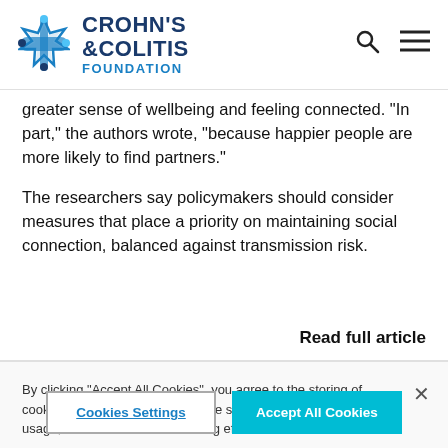CROHN'S & COLITIS FOUNDATION
greater sense of wellbeing and feeling connected. "In part," the authors wrote, "because happier people are more likely to find partners."
The researchers say policymakers should consider measures that place a priority on maintaining social connection, balanced against transmission risk.
Read full article
By clicking “Accept All Cookies”, you agree to the storing of cookies on your device to enhance site navigation, analyze site usage, and assist in our marketing efforts.
Cookies Settings
Accept All Cookies